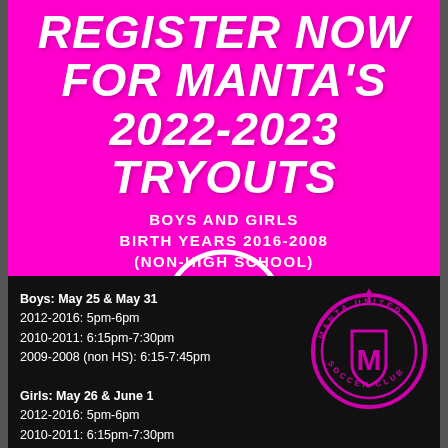REGISTER NOW FOR MANTA'S 2022-2023 TRYOUTS
BOYS AND GIRLS
BIRTH YEARS 2016-2008
(NON-HIGH SCHOOL)
REGISTER HERE
Boys: May 25 & May 31
2012-2016: 5pm-6pm
2010-2011: 6:15pm-7:30pm
2009-2008 (non HS): 6:15-7:45pm

Girls: May 26 & June 1
2012-2016: 5pm-6pm
2010-2011: 6:15pm-7:30pm
[Figure (logo): Manta United Soccer Club circular logo in pink on black background]